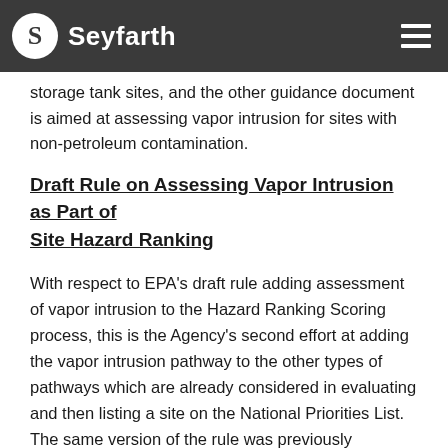Seyfarth
intrusion from leaking petroleum underground storage tank sites, and the other guidance document is aimed at assessing vapor intrusion for sites with non-petroleum contamination.
Draft Rule on Assessing Vapor Intrusion as Part of Site Hazard Ranking
With respect to EPA's draft rule adding assessment of vapor intrusion to the Hazard Ranking Scoring process, this is the Agency's second effort at adding the vapor intrusion pathway to the other types of pathways which are already considered in evaluating and then listing a site on the National Priorities List. The same version of the rule was previously submitted to, but then withdrawn from, OMB consideration.